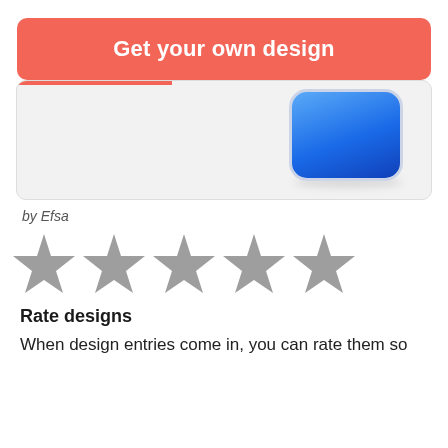Get your own design
[Figure (screenshot): A card UI element showing a blue rounded rectangle button/icon against a light grey card background, with a coral/red accent line at the top left of the card.]
by Efsa
[Figure (infographic): Five grey empty star rating icons arranged in a horizontal row, indicating a rating UI element with no stars selected.]
Rate designs
When design entries come in, you can rate them so